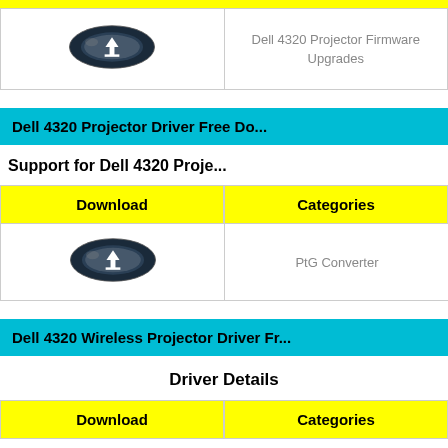[Figure (screenshot): Download icon - dark oval with downward arrow]
Dell 4320 Projector Firmware Upgrades
Dell 4320 Projector Driver Free Do...
Support for Dell 4320 Proje...
| Download | Categories |
| --- | --- |
| [icon] | PtG Converter |
Dell 4320 Wireless Projector Driver Fr...
Driver Details
| Download | Categories |
| --- | --- |